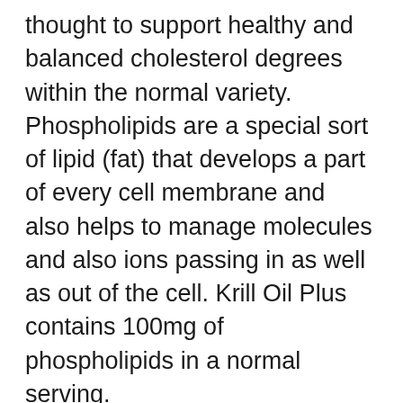thought to support healthy and balanced cholesterol degrees within the normal variety. Phospholipids are a special sort of lipid (fat) that develops a part of every cell membrane and also helps to manage molecules and also ions passing in as well as out of the cell. Krill Oil Plus contains 100mg of phospholipids in a normal serving. The studies have actually shown a mix of outcomes, some good, some negative. I discovered a research that contrasts older and a lot more recent research studies to find the reasons for the different results of omega-3 fatty acids. The meta-analysis located overall proof still sustains the American Heart Association's suggestion of having 2 portions of fatty fish per week.3.